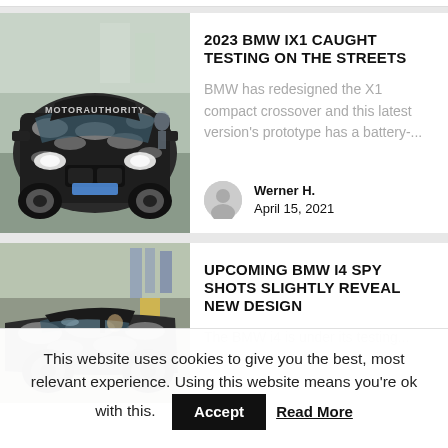2023 BMW IX1 CAUGHT TESTING ON THE STREETS
[Figure (photo): Spy shot of camouflaged 2023 BMW iX1 prototype driving on the street, front view, with MOTORAUTHORITY watermark]
BMW has redesigned the X1 compact crossover and this latest version's prototype has a battery-...
Werner H.
April 15, 2021
UPCOMING BMW I4 SPY SHOTS SLIGHTLY REVEAL NEW DESIGN
[Figure (photo): Spy shot of camouflaged BMW i4 prototype at what appears to be a gas station or testing facility]
The BMW i4 is under its testing...
This website uses cookies to give you the best, most relevant experience. Using this website means you're ok with this.